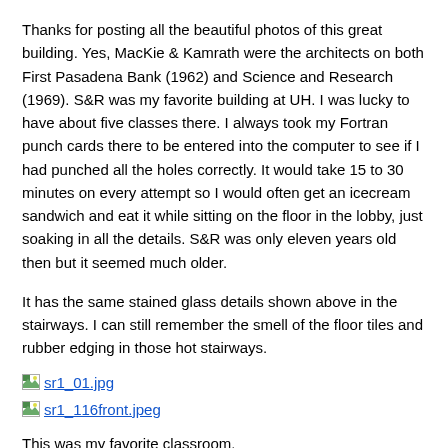Thanks for posting all the beautiful photos of this great building. Yes, MacKie & Kamrath were the architects on both First Pasadena Bank (1962) and Science and Research (1969). S&R was my favorite building at UH. I was lucky to have about five classes there. I always took my Fortran punch cards there to be entered into the computer to see if I had punched all the holes correctly. It would take 15 to 30 minutes on every attempt so I would often get an icecream sandwich and eat it while sitting on the floor in the lobby, just soaking in all the details. S&R was only eleven years old then but it seemed much older.
It has the same stained glass details shown above in the stairways. I can still remember the smell of the floor tiles and rubber edging in those hot stairways.
[Figure (other): Linked image thumbnail: sr1_01.jpg]
[Figure (other): Linked image thumbnail: sr1_116front.jpeg]
This was my favorite classroom.
I remember seeing a reduced floorplan for First Pasadena Bank and the...